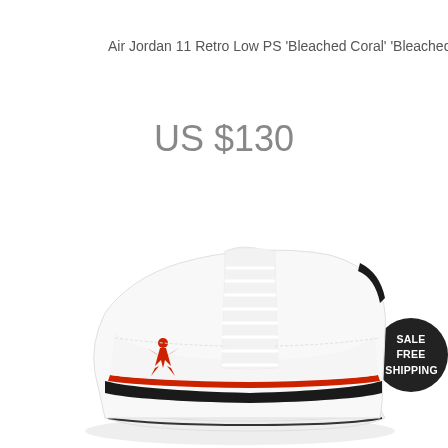Air Jordan 11 Retro Low PS 'Bleached Coral' 'Bleached Coral'
US $130
[Figure (photo): Air Jordan 11 Retro sneaker in white with red Jumpman logo and black accents, viewed from the side at an angle. A dark circular badge reads 'SALE FREE SHIPPING' overlaid on the upper right area.]